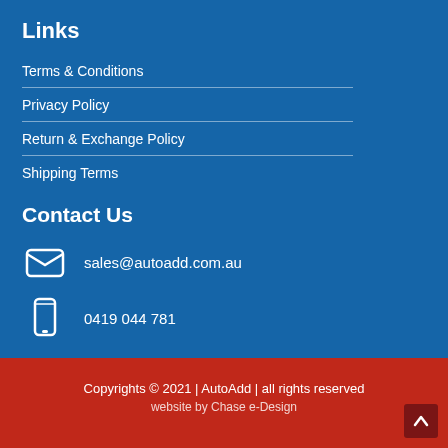Links
Terms & Conditions
Privacy Policy
Return & Exchange Policy
Shipping Terms
Contact Us
sales@autoadd.com.au
0419 044 781
Copyrights © 2021 | AutoAdd | all rights reserved
website by Chase e-Design